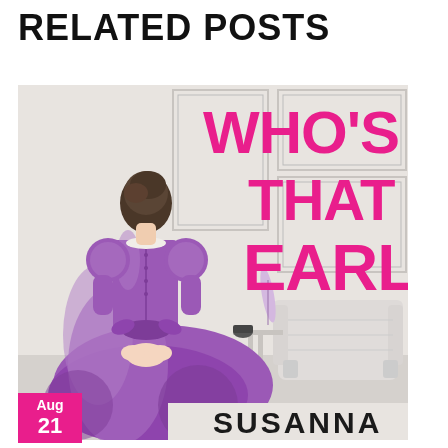RELATED POSTS
[Figure (photo): Book cover of 'Who's That Earl' by Susanna — features a woman in a purple Regency-era gown seen from behind, standing in an elegant room with a white armchair and ornate wall paneling. The title 'Who's That Earl' is displayed in large hot-pink handwritten-style letters. The author name 'Susanna' appears at the bottom.]
Aug 21